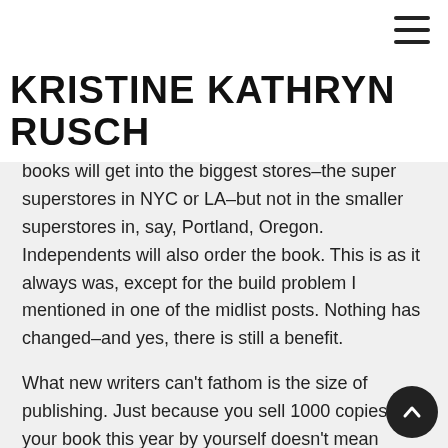KRISTINE KATHRYN RUSCH
KRISTINE KATHRYN RUSCH
books will get into the biggest stores–the super superstores in NYC or LA–but not in the smaller superstores in, say, Portland, Oregon. Independents will also order the book. This is as it always was, except for the build problem I mentioned in one of the midlist posts. Nothing has changed–and yes, there is still a benefit.
What new writers can't fathom is the size of publishing. Just because you sell 1000 copies of your book this year by yourself doesn't mean you're doing well by